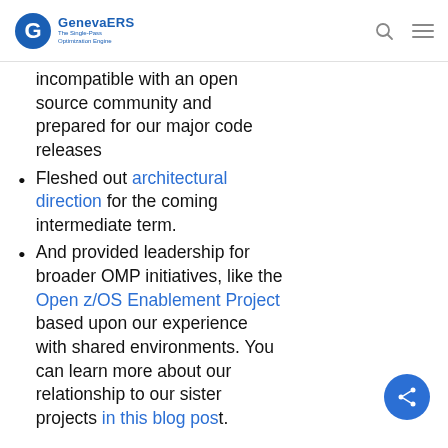GenevaERS – The Single-Pass Optimization Engine
incompatible with an open source community and prepared for our major code releases
Fleshed out architectural direction for the coming intermediate term.
And provided leadership for broader OMP initiatives, like the Open z/OS Enablement Project based upon our experience with shared environments. You can learn more about our relationship to our sister projects in this blog post.
Project Goals